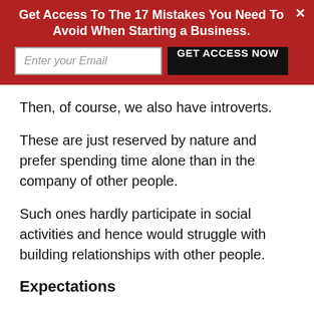[Figure (infographic): Red banner with email opt-in form. Title: 'Get Access To The 17 Mistakes You Need To Avoid When Starting a Business.' with an email input field and a black 'GET ACCESS NOW' button, plus a white X close button.]
Then, of course, we also have introverts.
These are just reserved by nature and prefer spending time alone than in the company of other people.
Such ones hardly participate in social activities and hence would struggle with building relationships with other people.
Expectations